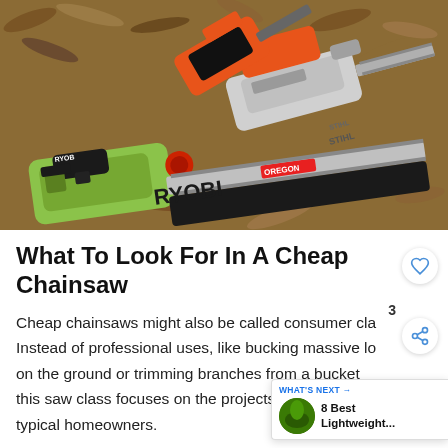[Figure (photo): Three chainsaws (RYOBI in green/black, STIHL in grey/white, and an orange/black model) laid on a bed of wood chips/sawdust. The RYOBI chainsaw features an Oregon bar and is prominently displayed in the foreground.]
What To Look For In A Cheap Chainsaw
Cheap chainsaws might also be called consumer cla Instead of professional uses, like bucking massive logs on the ground or trimming branches from a bucket this saw class focuses on the projects common to typical homeowners.